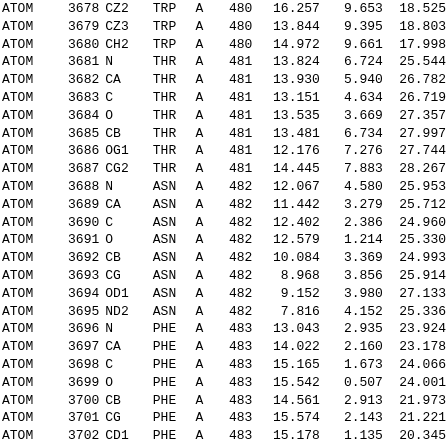| ATOM | serial | name | resName | chainID | resSeq | x | y | z |
| --- | --- | --- | --- | --- | --- | --- | --- | --- |
| ATOM | 3678 | CZ2 | TRP | A | 480 | 16.257 | 9.653 | 18.525 |
| ATOM | 3679 | CZ3 | TRP | A | 480 | 13.844 | 9.395 | 18.803 |
| ATOM | 3680 | CH2 | TRP | A | 480 | 14.972 | 9.661 | 17.998 |
| ATOM | 3681 | N | THR | A | 481 | 13.824 | 6.724 | 25.544 |
| ATOM | 3682 | CA | THR | A | 481 | 13.930 | 5.940 | 26.782 |
| ATOM | 3683 | C | THR | A | 481 | 13.151 | 4.634 | 26.719 |
| ATOM | 3684 | O | THR | A | 481 | 13.535 | 3.669 | 27.357 |
| ATOM | 3685 | CB | THR | A | 481 | 13.481 | 6.734 | 27.997 |
| ATOM | 3686 | OG1 | THR | A | 481 | 12.176 | 7.276 | 27.744 |
| ATOM | 3687 | CG2 | THR | A | 481 | 14.445 | 7.883 | 28.267 |
| ATOM | 3688 | N | ASN | A | 482 | 12.067 | 4.580 | 25.953 |
| ATOM | 3689 | CA | ASN | A | 482 | 11.442 | 3.279 | 25.712 |
| ATOM | 3690 | C | ASN | A | 482 | 12.402 | 2.386 | 24.960 |
| ATOM | 3691 | O | ASN | A | 482 | 12.579 | 1.214 | 25.330 |
| ATOM | 3692 | CB | ASN | A | 482 | 10.084 | 3.369 | 24.993 |
| ATOM | 3693 | CG | ASN | A | 482 | 8.968 | 3.856 | 25.914 |
| ATOM | 3694 | OD1 | ASN | A | 482 | 9.152 | 3.980 | 27.133 |
| ATOM | 3695 | ND2 | ASN | A | 482 | 7.816 | 4.152 | 25.336 |
| ATOM | 3696 | N | PHE | A | 483 | 13.043 | 2.935 | 23.924 |
| ATOM | 3697 | CA | PHE | A | 483 | 14.022 | 2.160 | 23.178 |
| ATOM | 3698 | C | PHE | A | 483 | 15.165 | 1.673 | 24.066 |
| ATOM | 3699 | O | PHE | A | 483 | 15.542 | 0.507 | 24.001 |
| ATOM | 3700 | CB | PHE | A | 483 | 14.561 | 2.913 | 21.973 |
| ATOM | 3701 | CG | PHE | A | 483 | 15.574 | 2.143 | 21.221 |
| ATOM | 3702 | CD1 | PHE | A | 483 | 15.178 | 1.135 | 20.345 |
| ATOM | 3703 | CD2 | PHE | A | 483 | 16.931 | 2.378 | 21.420 |
| ATOM | 3704 | CE1 | PHE | A | 483 | 16.130 | 0.370 | 19.644 |
| ATOM | 3705 | CE2 | PHE | A | 483 | 17.895 | 1.627 | 20.732 |
| ATOM | 3706 | CZ | PHE | A | 483 | 17.486 | 0.623 | 19.834 |
| ATOM | 3707 | N | ALA | A | 484 | 15.711 | 2.554 | 24.900 |